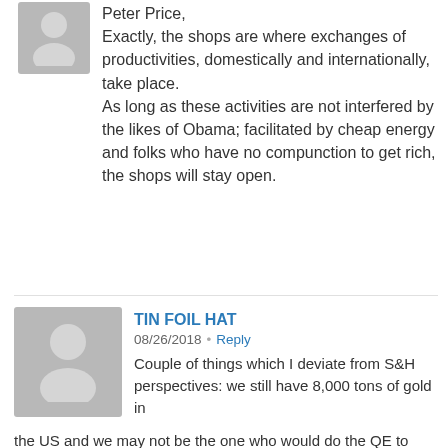Peter Price, Exactly, the shops are where exchanges of productivities, domestically and internationally, take place. As long as these activities are not interfered by the likes of Obama; facilitated by cheap energy and folks who have no compunction to get rich, the shops will stay open.
TIN FOIL HAT   08/26/2018 • Reply
Couple of things which I deviate from S&H perspectives: we still have 8,000 tons of gold in the US and we may not be the one who would do the QE to infinity as the EMs implore one after another. China may take charge and beat us to it by introducing a new currency before the yuan blow up. I concur with S&H that a reset vis the SDR will fail or it has already failed because of the dollar component in the SDR. The